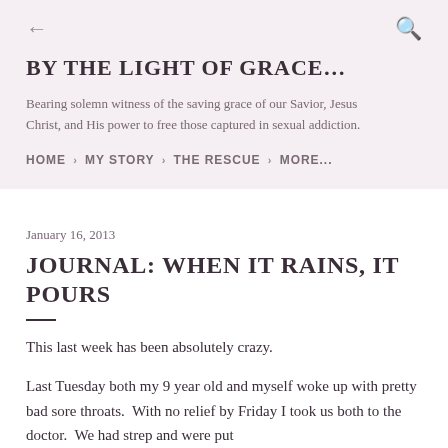← (back arrow)  Q (search icon)
BY THE LIGHT OF GRACE…
Bearing solemn witness of the saving grace of our Savior, Jesus Christ, and His power to free those captured in sexual addiction.
HOME · MY STORY · THE RESCUE · MORE...
January 16, 2013
JOURNAL: WHEN IT RAINS, IT POURS
This last week has been absolutely crazy.
Last Tuesday both my 9 year old and myself woke up with pretty bad sore throats.  With no relief by Friday I took us both to the doctor.  We had strep and were put on antibiotics.